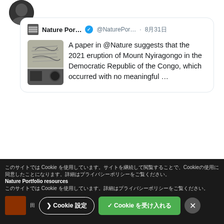[Figure (screenshot): Twitter/social media screenshot showing a quoted tweet from Nature Por... (@NaturePor...) dated 8月31日, with text about a paper in @Nature about the 2021 eruption of Mount Nyiragongo in the Democratic Republic of the Congo, which occurred with no meaningful ..., with a map image thumbnail. Below are comment and heart icons.]
Twitter へのログイン
ⓘ Twitterにログインして詳細をご覧ください
このサイトでは Cookie を使用しています。サイトを継続して閲覧することで、Cookieの使用に同意したことになります。詳細はプライバシーポリシーをご覧ください。
Nature Portfolio resources
このサイトでは Cookie を使用しています。詳細はプライバシーポリシーをご覧ください。
❯Cookie 設定
✓ Cookie を受け入れる